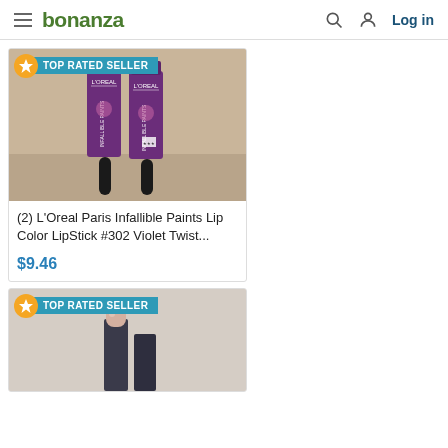bonanza — Log in
[Figure (photo): Two L'Oreal Paris Infallible Paints lipstick tubes in purple standing upright on a wooden surface, with a 'TOP RATED SELLER' badge]
(2) L'Oreal Paris Infallible Paints Lip Color LipStick #302 Violet Twist...
$9.46
[Figure (photo): Partial view of a lip product (lipstick bullet visible) with a 'TOP RATED SELLER' badge, image cut off at bottom of page]